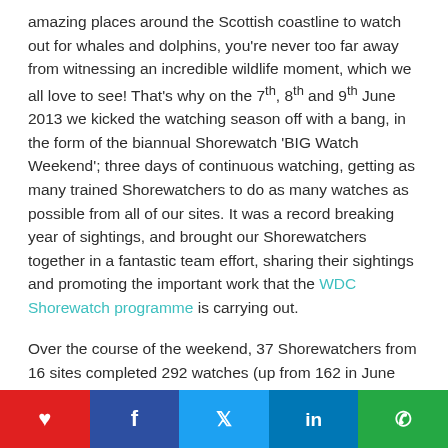amazing places around the Scottish coastline to watch out for whales and dolphins, you're never too far away from witnessing an incredible wildlife moment, which we all love to see! That's why on the 7th, 8th and 9th June 2013 we kicked the watching season off with a bang, in the form of the biannual Shorewatch 'BIG Watch Weekend'; three days of continuous watching, getting as many trained Shorewatchers to do as many watches as possible from all of our sites. It was a record breaking year of sightings, and brought our Shorewatchers together in a fantastic team effort, sharing their sightings and promoting the important work that the WDC Shorewatch programme is carrying out.

Over the course of the weekend, 37 Shorewatchers from 16 sites completed 292 watches (up from 162 in June 2012), resulting in a record breaking 48.7 hours (over two days!!) of continuous watching! There were 51 positive watches
❤  f  🐦  in  WhatsApp